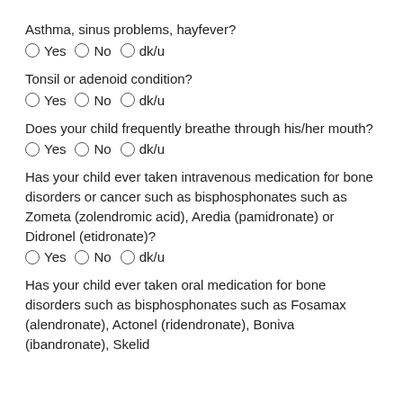Asthma, sinus problems, hayfever?
Yes  No  dk/u
Tonsil or adenoid condition?
Yes  No  dk/u
Does your child frequently breathe through his/her mouth?
Yes  No  dk/u
Has your child ever taken intravenous medication for bone disorders or cancer such as bisphosphonates such as Zometa (zolendromic acid), Aredia (pamidronate) or Didronel (etidronate)?
Yes  No  dk/u
Has your child ever taken oral medication for bone disorders such as bisphosphonates such as Fosamax (alendronate), Actonel (ridendronate), Boniva (ibandronate), Skelid